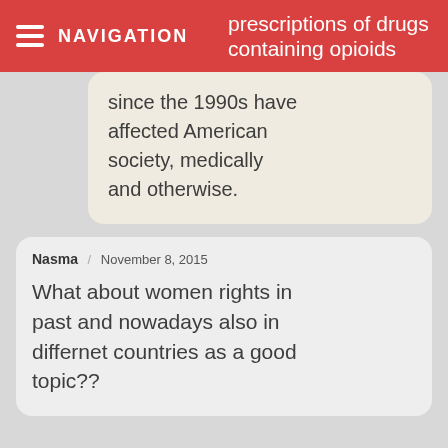NAVIGATION
prescriptions of drugs containing opioids since the 1990s have affected American society, medically and otherwise.
Nasma / November 8, 2015

What about women rights in past and nowadays also in differnet countries as a good topic??
Mr. Morton / November 10, 2015